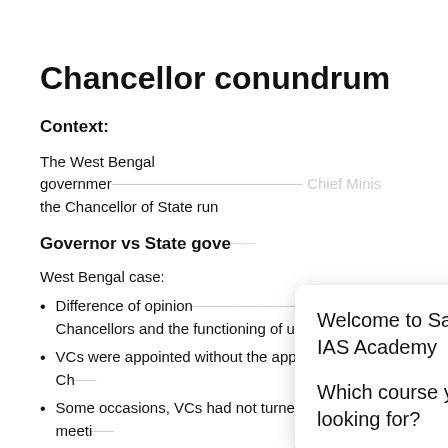Chancellor conundrum
Context:
The West Bengal government – that is a report by the Chief Minister – the Chancellor of State run
Governor vs State gove
West Bengal case:
Difference of opinion between Chancellors and the functioning of universities.
VCs were appointed without the approval of the Ch
Some occasions, VCs had not turned up for a meeting the Governor Chancellor.
[Figure (screenshot): Popup dialog from Sarat Chandra IAS Academy website with welcome message and course selection question, featuring an avatar of a man with glasses and beard on orange background, and a close button.]